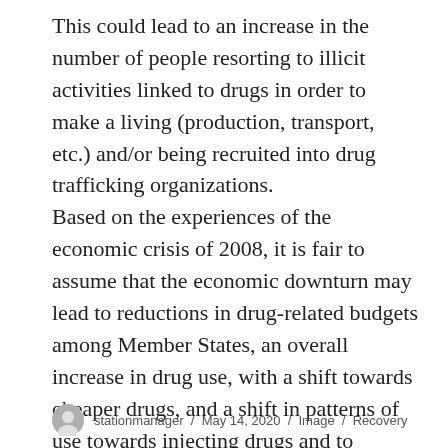This could lead to an increase in the number of people resorting to illicit activities linked to drugs in order to make a living (production, transport, etc.) and/or being recruited into drug trafficking organizations. Based on the experiences of the economic crisis of 2008, it is fair to assume that the economic downturn may lead to reductions in drug-related budgets among Member States, an overall increase in drug use, with a shift towards cheaper drugs, and a shift in patterns of use towards injecting drugs and to substances with an increased risk of harm due to a greater frequency of injections.
stationmanager / May 14, 2020 / Image / Recovery